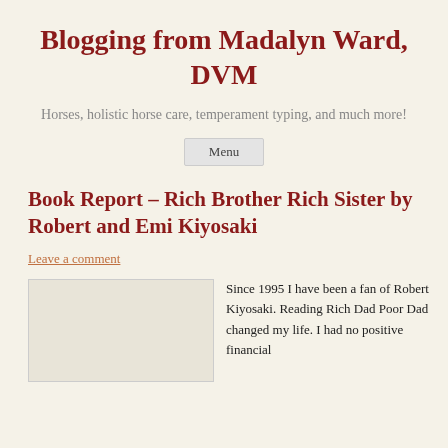Blogging from Madalyn Ward, DVM
Horses, holistic horse care, temperament typing, and much more!
Menu
Book Report – Rich Brother Rich Sister by Robert and Emi Kiyosaki
Leave a comment
[Figure (photo): Book image placeholder]
Since 1995 I have been a fan of Robert Kiyosaki. Reading Rich Dad Poor Dad changed my life. I had no positive financial